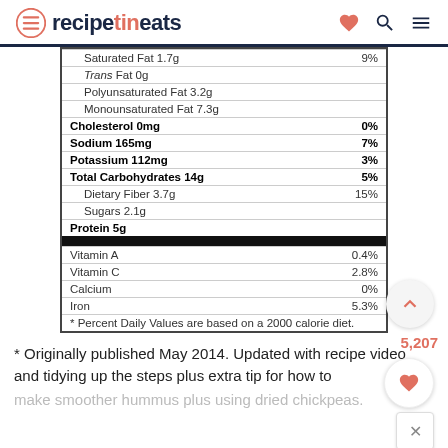recipetineats
| Saturated Fat 1.7g | 9% |
| Trans Fat 0g |  |
| Polyunsaturated Fat 3.2g |  |
| Monounsaturated Fat 7.3g |  |
| Cholesterol 0mg | 0% |
| Sodium 165mg | 7% |
| Potassium 112mg | 3% |
| Total Carbohydrates 14g | 5% |
| Dietary Fiber 3.7g | 15% |
| Sugars 2.1g |  |
| Protein 5g |  |
| Vitamin A | 0.4% |
| Vitamin C | 2.8% |
| Calcium | 0% |
| Iron | 5.3% |
| * Percent Daily Values are based on a 2000 calorie diet. |  |
* Originally published May 2014. Updated with recipe video and tidying up the steps plus extra tip for how to make smoother hummus plus using dried chickpeas.